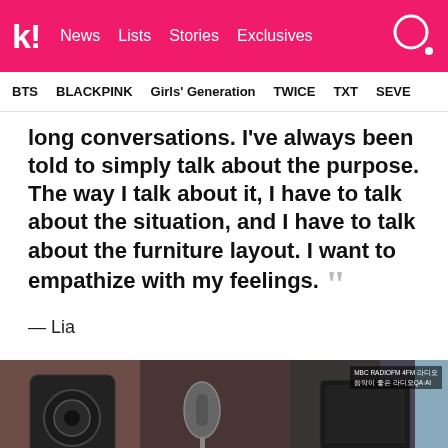k! News  Lists  Stories  Exclusives
BTS  BLACKPINK  Girls' Generation  TWICE  TXT  SEVE
long conversations. I've always been told to simply talk about the purpose. The way I talk about it, I have to talk about the situation, and I have to talk about the furniture layout. I want to empathize with my feelings. ””
— Lia
[Figure (photo): Studio setting with microphone equipment, speakers and monitor visible in background, partial view of a person at bottom]